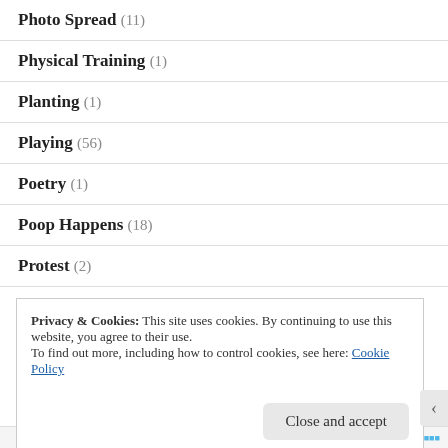Photo Spread (11)
Physical Training (1)
Planting (1)
Playing (56)
Poetry (1)
Poop Happens (18)
Protest (2)
Privacy & Cookies: This site uses cookies. By continuing to use this website, you agree to their use.
To find out more, including how to control cookies, see here: Cookie Policy
Close and accept